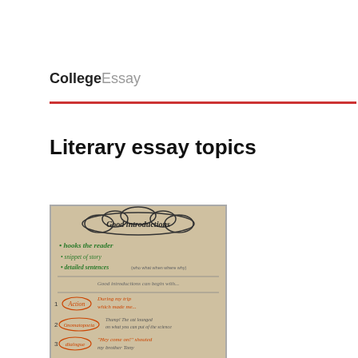CollegeEssay
Literary essay topics
[Figure (photo): A handwritten anchor chart titled 'Good introductions' with bullet points: hooks the reader, snippet of story, detailed sentences (who what when where why). Lists three types: 1. Action - During my trip..., 2. Onomatopoeia - Thump the sur lounged..., 3. dialogue - Hey come on! shouted my brother Tony]